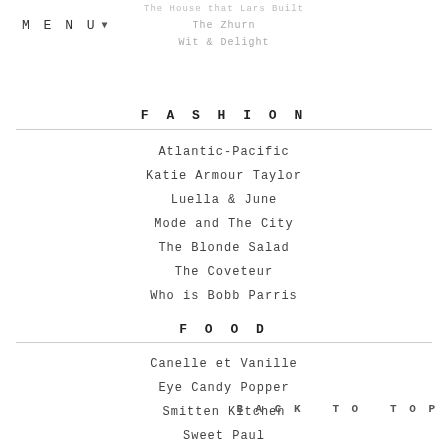MENU
The House that Lars Built
The Zhurn
Wit & Delight
FASHION
Atlantic-Pacific
Katie Armour Taylor
Luella & June
Mode and The City
The Blonde Salad
The Coveteur
Who is Bobb Parris
FOOD
Canelle et Vanille
Eye Candy Popper
Smitten Kitchen
Sweet Paul
BACK TO TOP